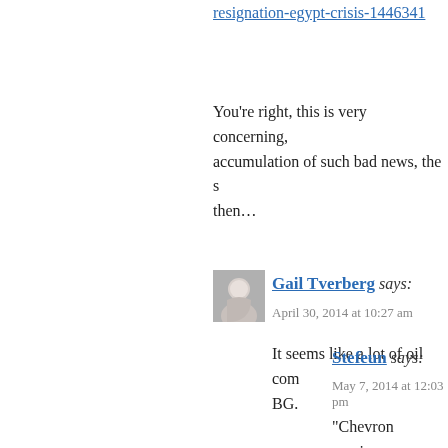resignation-egypt-crisis-1446341
You’re right, this is very concerning, accumulation of such bad news, the s then…
[Figure (photo): Avatar photo of Gail Tverberg, a woman with white/gray hair]
Gail Tverberg says:
April 30, 2014 at 10:27 am
It seems like a lot of oil com BG.
Stefeun says:
May 7, 2014 at 12:03 pm
“Chevron earnings s Wendy Koch, USA T 2014